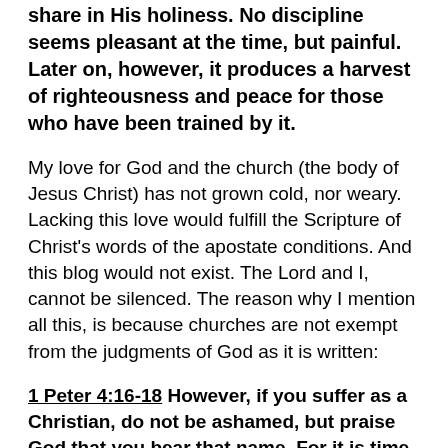share in His holiness. No discipline seems pleasant at the time, but painful. Later on, however, it produces a harvest of righteousness and peace for those who have been trained by it.
My love for God and the church (the body of Jesus Christ) has not grown cold, nor weary. Lacking this love would fulfill the Scripture of Christ's words of the apostate conditions. And this blog would not exist. The Lord and I, cannot be silenced. The reason why I mention all this, is because churches are not exempt from the judgments of God as it is written:
1 Peter 4:16-18 However, if you suffer as a Christian, do not be ashamed, but praise God that you bear that name. For it is time for judgment to begin with the family of God; and if it begins with us, what will the outcome be for those who do not obey the gospel of